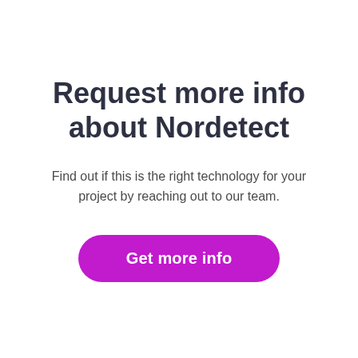Request more info about Nordetect
Find out if this is the right technology for your project by reaching out to our team.
Get more info